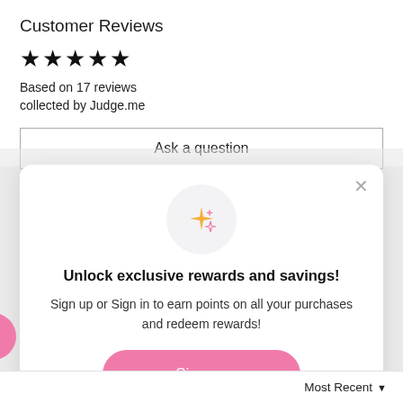Customer Reviews
★★★★★
Based on 17 reviews
collected by Judge.me
Ask a question
[Figure (illustration): Sparkle/stars emoji illustration inside a light gray circle]
Unlock exclusive rewards and savings!
Sign up or Sign in to earn points on all your purchases and redeem rewards!
Sign up
Already have an account? Sign in
Most Recent ▼